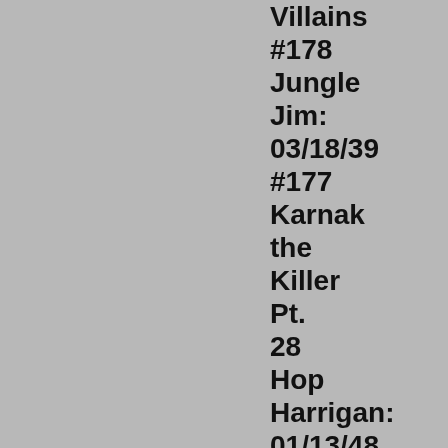Villains #178 Jungle Jim: 03/18/39 #177 Karnak the Killer Pt. 28 Hop Harrigan: 01/13/48 #1377 Secret of Lakeville Bell Ep. 18